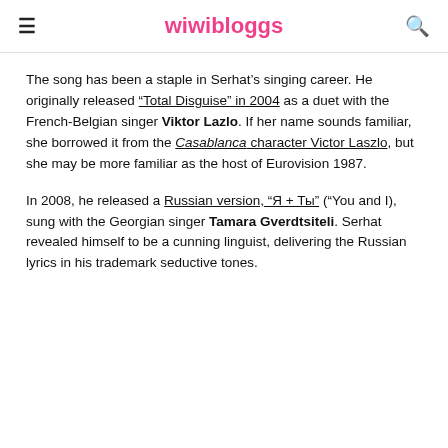wiwibloggs
The song has been a staple in Serhat’s singing career. He originally released “Total Disguise” in 2004 as a duet with the French-Belgian singer Viktor Lazlo. If her name sounds familiar, she borrowed it from the Casablanca character Victor Laszlo, but she may be more familiar as the host of Eurovision 1987.
In 2008, he released a Russian version, “Я + Ты” (“You and I), sung with the Georgian singer Tamara Gverdtsiteli. Serhat revealed himself to be a cunning linguist, delivering the Russian lyrics in his trademark seductive tones.